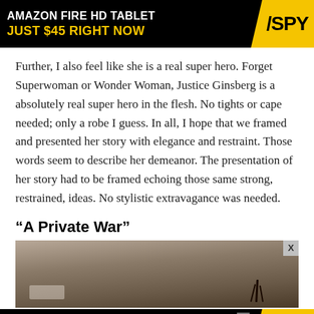[Figure (screenshot): Black advertisement banner for Amazon Fire HD Tablet with yellow SPY logo diagonal slash design. Text reads: AMAZON FIRE HD TABLET / JUST $45 RIGHT NOW]
Further, I also feel like she is a real super hero. Forget Superwoman or Wonder Woman, Justice Ginsberg is a absolutely real super hero in the flesh. No tights or cape needed; only a robe I guess. In all, I hope that we framed and presented her story with elegance and restraint. Those words seem to describe her demeanor. The presentation of her story had to be framed echoing those same strong, restrained, ideas. No stylistic extravagance was needed.
“A Private War”
[Figure (photo): A blurry outdoor photo showing ground and some dark stick-like objects, appears to be a war or conflict zone scene.]
[Figure (screenshot): Black advertisement banner for SPY skincare product. Text reads: MEN'S SKINCARE HACK / HIDE ACNE FOR $24 with yellow SPY logo]